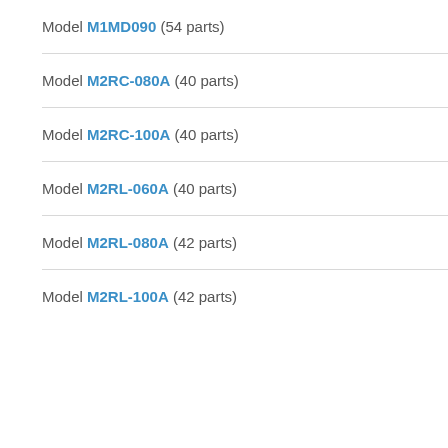Model M1MD090 (54 parts)
Model M2RC-080A (40 parts)
Model M2RC-100A (40 parts)
Model M2RL-060A (40 parts)
Model M2RL-080A (42 parts)
Model M2RL-100A (42 parts)